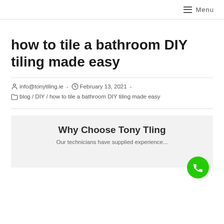Menu
how to tile a bathroom DIY tiling made easy
info@tonytiling.ie  -  February 13, 2021  -
blog / DIY / how to tile a bathroom DIY tiling made easy
[Figure (infographic): Card with heading 'Why Choose Tony Tling' and partial subtext 'Our technicians have supplied experience...' with a green phone call button on the bottom right.]